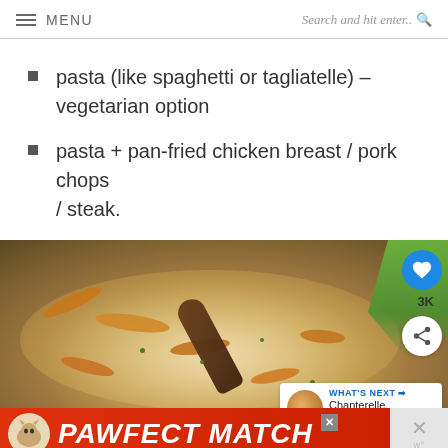MENU   Search and hit enter..
pasta (like spaghetti or tagliatelle) – vegetarian option
pasta + pan-fried chicken breast / pork chops / steak.
[Figure (photo): A pan of creamy chanterelle mushroom pasta sauce with a wooden spoon, with fresh herbs visible. Overlay shows like button (3K), share button, WHAT'S NEXT arrow pointing to Chanterelle soup thumbnail, and a PAWFECT MATCH advertisement banner at bottom.]